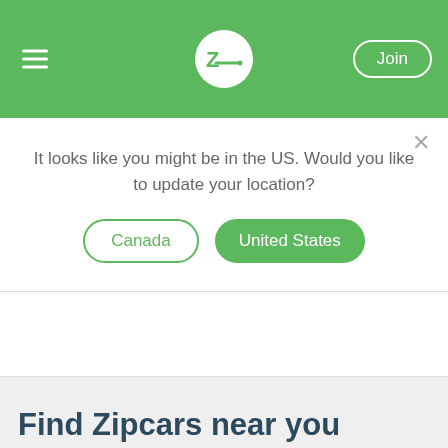Zipcar header with hamburger menu, Zipcar logo, and Join button
It looks like you might be in the US. Would you like to update your location?
Canada
United States
Find Zipcars near you